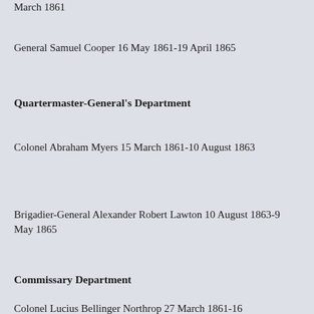March 1861
General Samuel Cooper 16 May 1861-19 April 1865
Quartermaster-General's Department
Colonel Abraham Myers 15 March 1861-10 August 1863
Brigadier-General Alexander Robert Lawton 10 August 1863-9 May 1865
Commissary Department
Colonel Lucius Bellinger Northrop 27 March 1861-16...